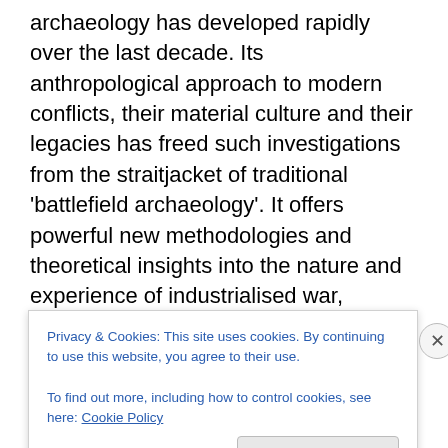archaeology has developed rapidly over the last decade. Its anthropological approach to modern conflicts, their material culture and their legacies has freed such investigations from the straitjacket of traditional 'battlefield archaeology'. It offers powerful new methodologies and theoretical insights into the nature and experience of industrialised war, whether between nation states or as civil conflict, by individuals as well as groups and by women and children, as well as men of fighting age. The complexities of studying wars within living memory demand a new response – a sensitised, cross-disciplinary approach which draws on many other kinds of academic study but which does not privilege any particular discipline. It is the most democratic
Privacy & Cookies: This site uses cookies. By continuing to use this website, you agree to their use.
To find out more, including how to control cookies, see here: Cookie Policy
Close and accept